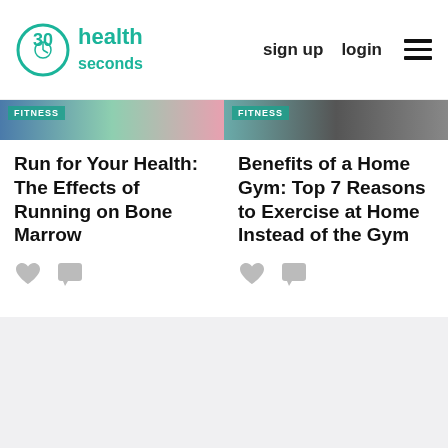30 seconds health — sign up  login
[Figure (screenshot): Two fitness article thumbnail images with FITNESS label overlays]
Run for Your Health: The Effects of Running on Bone Marrow
Benefits of a Home Gym: Top 7 Reasons to Exercise at Home Instead of the Gym